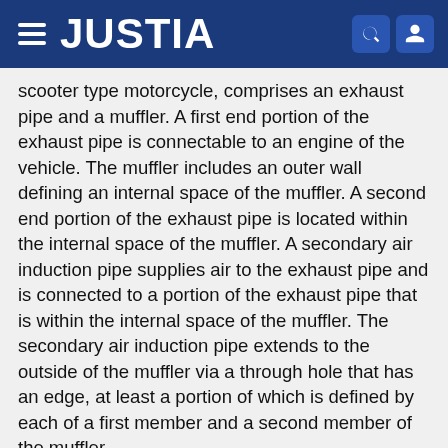JUSTIA
scooter type motorcycle, comprises an exhaust pipe and a muffler. A first end portion of the exhaust pipe is connectable to an engine of the vehicle. The muffler includes an outer wall defining an internal space of the muffler. A second end portion of the exhaust pipe is located within the internal space of the muffler. A secondary air induction pipe supplies air to the exhaust pipe and is connected to a portion of the exhaust pipe that is within the internal space of the muffler. The secondary air induction pipe extends to the outside of the muffler via a through hole that has an edge, at least a portion of which is defined by each of a first member and a second member of the muffler.
Type: Application
Filed: May 1, 2007
Publication date: November 1, 2007
Applicant: YAMAHA HATSUDOKI KABUSHIKI KAISHA